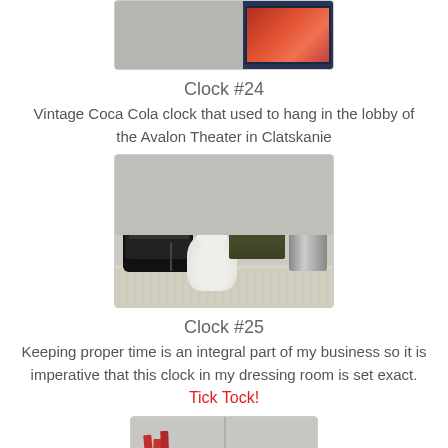[Figure (photo): Partial view of a photo showing a framed picture with a red/orange automotive image on dark blue background, mounted on a gray wall.]
Clock #24
Vintage Coca Cola clock that used to hang in the lobby of the Avalon Theater in Clatskanie
[Figure (photo): Photo of a table with a black alarm clock radio, a white ceramic poodle figurine, a dark green decorative candle warmer, and a chrome stool in the background.]
Clock #25
Keeping proper time is an integral part of my business so it is imperative that this clock in my dressing room is set exact.
Tick Tock!
[Figure (photo): Partial bottom view of a photo showing what appears to be a dressing room with makeup brushes visible.]